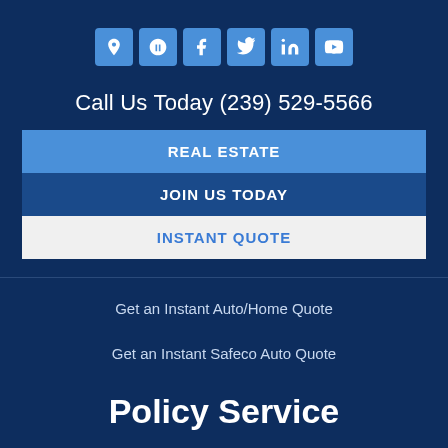[Figure (other): Row of six social media icon buttons (location pin, Yelp, Facebook, Twitter, LinkedIn, YouTube) in light blue rounded square boxes on dark navy background]
Call Us Today (239) 529-5566
REAL ESTATE
JOIN US TODAY
INSTANT QUOTE
Get an Instant Auto/Home Quote
Get an Instant Safeco Auto Quote
Policy Service